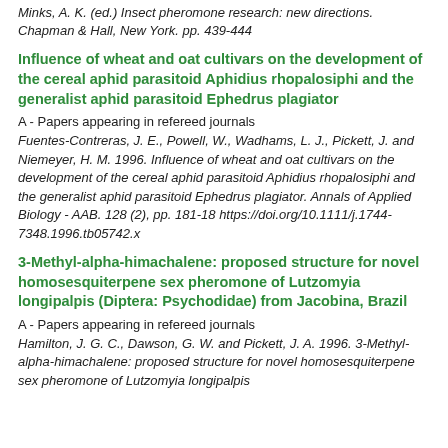Minks, A. K. (ed.) Insect pheromone research: new directions. Chapman & Hall, New York. pp. 439-444
Influence of wheat and oat cultivars on the development of the cereal aphid parasitoid Aphidius rhopalosiphi and the generalist aphid parasitoid Ephedrus plagiator
A - Papers appearing in refereed journals
Fuentes-Contreras, J. E., Powell, W., Wadhams, L. J., Pickett, J. and Niemeyer, H. M. 1996. Influence of wheat and oat cultivars on the development of the cereal aphid parasitoid Aphidius rhopalosiphi and the generalist aphid parasitoid Ephedrus plagiator. Annals of Applied Biology - AAB. 128 (2), pp. 181-18 https://doi.org/10.1111/j.1744-7348.1996.tb05742.x
3-Methyl-alpha-himachalene: proposed structure for novel homosesquiterpene sex pheromone of Lutzomyia longipalpis (Diptera: Psychodidae) from Jacobina, Brazil
A - Papers appearing in refereed journals
Hamilton, J. G. C., Dawson, G. W. and Pickett, J. A. 1996. 3-Methyl-alpha-himachalene: proposed structure for novel homosesquiterpene sex pheromone of Lutzomyia longipalpis